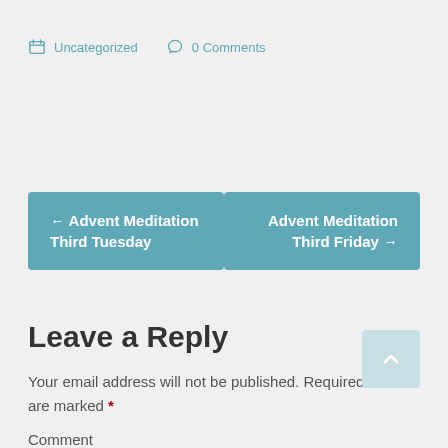Uncategorized   0 Comments
← Advent Meditation Third Tuesday
Advent Meditation Third Friday →
Leave a Reply
Your email address will not be published. Required fields are marked *
Comment